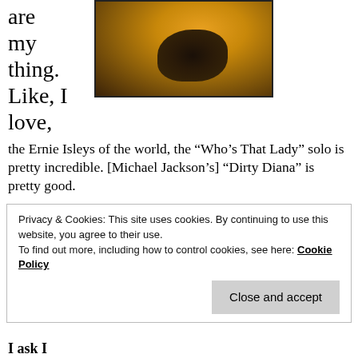are my thing. Like, I love,
[Figure (photo): A person in a yellow/orange top holding something, photographed from the chest down]
the Ernie Isleys of the world, the “Who’s That Lady” solo is pretty incredible. [Michael Jackson’s] “Dirty Diana” is pretty good.
Do you play air guitar?
Privacy & Cookies: This site uses cookies. By continuing to use this website, you agree to their use.
To find out more, including how to control cookies, see here: Cookie Policy
I ask because officially he said he cut to erratic